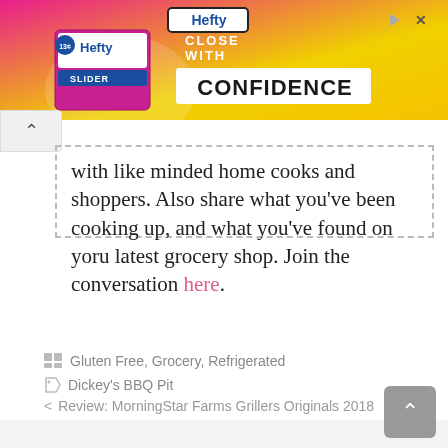[Figure (other): Hefty Slider Bags advertisement banner with pink/yellow gradient background, Hefty logo and text 'CLOSE WITH CONFIDENCE']
with like minded home cooks and shoppers. Also share what you've been cooking up, and what you've found on yoru latest grocery shop. Join the conversation here.
Gluten Free, Grocery, Refrigerated
Dickey's BBQ Pit
Review: MorningStar Farms Grillers Originals 2018
Review: Chapparo's Pork Tamales